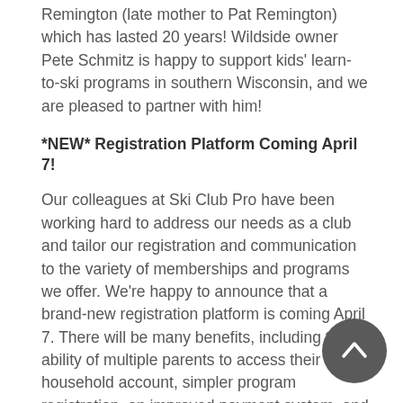Remington (late mother to Pat Remington) which has lasted 20 years! Wildside owner Pete Schmitz is happy to support kids' learn-to-ski programs in southern Wisconsin, and we are pleased to partner with him!
*NEW* Registration Platform Coming April 7!
Our colleagues at Ski Club Pro have been working hard to address our needs as a club and tailor our registration and communication to the variety of memberships and programs we offer. We're happy to announce that a brand-new registration platform is coming April 7. There will be many benefits, including the ability of multiple parents to access their household account, simpler program registration, an improved payment system, and multiple communication tools.
All members will need to register their families in the new system. For those purchasing mountain biking and hiking year-round memberships, registration will be available to